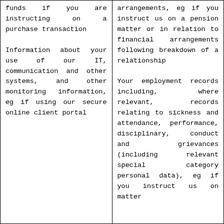| funds if you are instructing on a purchase transaction

Information about your use of our IT, communication and other systems, and other monitoring information, eg if using our secure online client portal | arrangements, eg if you instruct us on a pension matter or in relation to financial arrangements following breakdown of a relationship

Your employment records including, where relevant, records relating to sickness and attendance, performance, disciplinary, conduct and grievances (including relevant special category personal data), eg if you instruct us on matter |